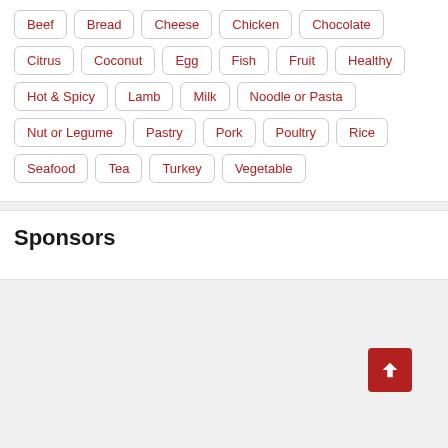Beef, Bread, Cheese, Chicken, Chocolate, Citrus, Coconut, Egg, Fish, Fruit, Healthy, Hot & Spicy, Lamb, Milk, Noodle or Pasta, Nut or Legume, Pastry, Pork, Poultry, Rice, Seafood, Tea, Turkey, Vegetable
Sponsors